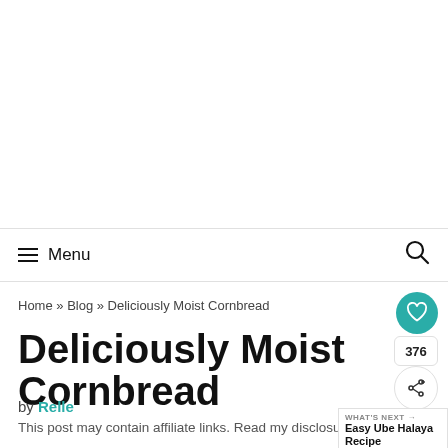Menu
Home » Blog » Deliciously Moist Cornbread
Deliciously Moist Cornbread
by Relle
This post may contain affiliate links. Read my disclosure policy.